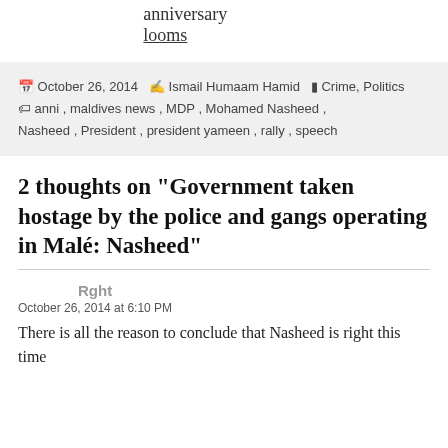anniversary looms
October 26, 2014  Ismail Humaam Hamid  Crime, Politics  anni, maldives news, MDP, Mohamed Nasheed, Nasheed, President, president yameen, rally, speech
2 thoughts on “Government taken hostage by the police and gangs operating in Malé: Nasheed”
Rght
October 26, 2014 at 6:10 PM
There is all the reason to conclude that Nasheed is right this time